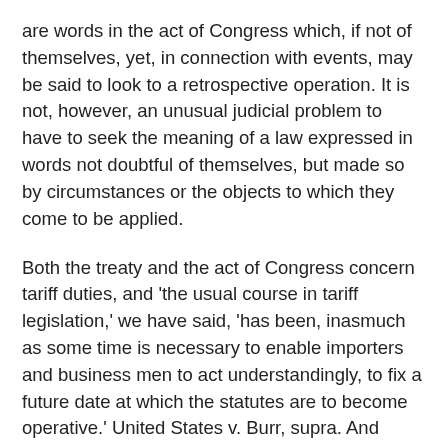are words in the act of Congress which, if not of themselves, yet, in connection with events, may be said to look to a retrospective operation. It is not, however, an unusual judicial problem to have to seek the meaning of a law expressed in words not doubtful of themselves, but made so by circumstances or the objects to which they come to be applied.
Both the treaty and the act of Congress concern tariff duties, and 'the usual course in tariff legislation,' we have said, 'has been, inasmuch as some time is necessary to enable importers and business men to act understandingly, to fix a future date at which the statutes are to become operative.' United States v. Burr, supra. And these remarks have application here. The treaty, it may be admitted, was intended as a beneficial concession to Cuba. But conditions in the United States were also to be considered, and we cannot assume that this would have been overlooked by